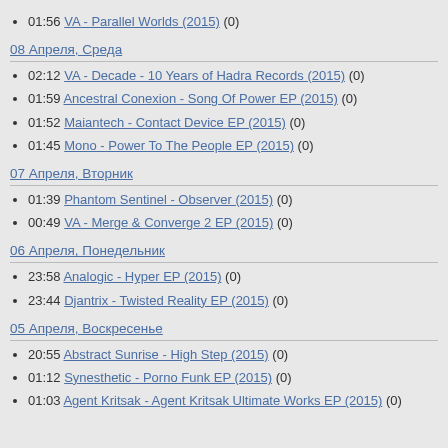01:56 VA - Parallel Worlds (2015) (0)
08 Апреля, Среда
02:12 VA - Decade - 10 Years of Hadra Records (2015) (0)
01:59 Ancestral Conexion - Song Of Power EP (2015) (0)
01:52 Maiantech - Contact Device EP (2015) (0)
01:45 Mono - Power To The People EP (2015) (0)
07 Апреля, Вторник
01:39 Phantom Sentinel - Observer (2015) (0)
00:49 VA - Merge & Converge 2 EP (2015) (0)
06 Апреля, Понедельник
23:58 Analogic - Hyper EP (2015) (0)
23:44 Djantrix - Twisted Reality EP (2015) (0)
05 Апреля, Воскресенье
20:55 Abstract Sunrise - High Step (2015) (0)
01:12 Synesthetic - Porno Funk EP (2015) (0)
01:03 Agent Kritsak - Agent Kritsak Ultimate Works EP (2015) (0)